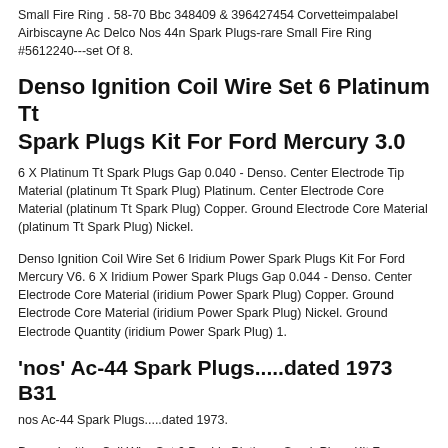Small Fire Ring . 58-70 Bbc 348409 & 396427454 Corvetteimpalabel Airbiscayne Ac Delco Nos 44n Spark Plugs-rare Small Fire Ring #5612240---set Of 8.
Denso Ignition Coil Wire Set 6 Platinum Tt Spark Plugs Kit For Ford Mercury 3.0
6 X Platinum Tt Spark Plugs Gap 0.040 - Denso. Center Electrode Tip Material (platinum Tt Spark Plug) Platinum. Center Electrode Core Material (platinum Tt Spark Plug) Copper. Ground Electrode Core Material (platinum Tt Spark Plug) Nickel.
Denso Ignition Coil Wire Set 6 Iridium Power Spark Plugs Kit For Ford Mercury V6. 6 X Iridium Power Spark Plugs Gap 0.044 - Denso. Center Electrode Core Material (iridium Power Spark Plug) Copper. Ground Electrode Core Material (iridium Power Spark Plug) Nickel. Ground Electrode Quantity (iridium Power Spark Plug) 1.
'nos' Ac-44 Spark Plugs.....dated 1973 B31
nos Ac-44 Spark Plugs.....dated 1973.
Denso Ignition Coil Wire Set 6 Double Platinum Spark Plugs Kit For Mazda Ford V6. 6 X Double Platinum Spark Plugs Gap 0.050 - Denso. Center Electrode Tip Material (double Platinum Spark Plug) Platin...